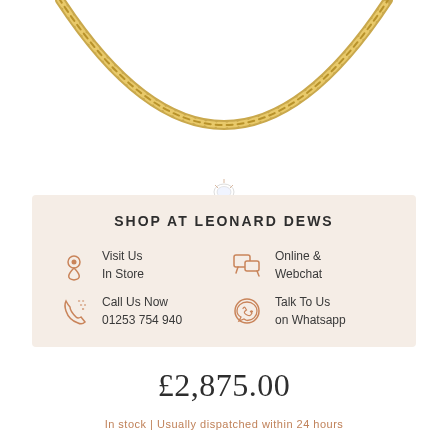[Figure (photo): Close-up photo of a gold chain necklace with a small diamond or crystal pendant at the center, on a white background.]
SHOP AT LEONARD DEWS
Visit Us In Store
Online & Webchat
Call Us Now 01253 754 940
Talk To Us on Whatsapp
£2,875.00
In stock | Usually dispatched within 24 hours